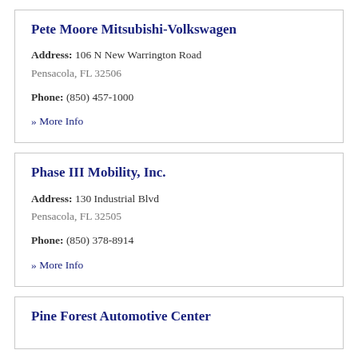Pete Moore Mitsubishi-Volkswagen
Address: 106 N New Warrington Road
Pensacola, FL 32506
Phone: (850) 457-1000
» More Info
Phase III Mobility, Inc.
Address: 130 Industrial Blvd
Pensacola, FL 32505
Phone: (850) 378-8914
» More Info
Pine Forest Automotive Center